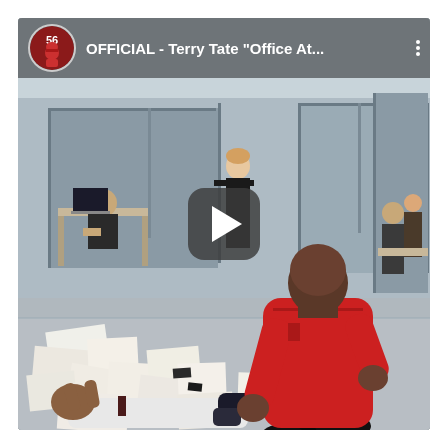[Figure (screenshot): YouTube video thumbnail showing the OFFICIAL Terry Tate 'Office At...' video. A large muscular man in a red shirt is tackling/standing over a man in a white shirt who is lying on the floor surrounded by scattered papers, in an office setting. The video has a play button overlay in the center. The top bar shows a channel avatar with number 56 and a football player figure, and the title 'OFFICIAL - Terry Tate "Office At...'.]